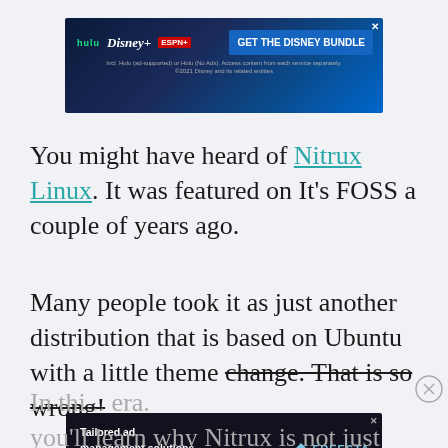[Figure (other): Disney Bundle advertisement banner showing Hulu, Disney+, ESPN+ logos with 'GET THE DISNEY BUNDLE' call-to-action button on dark blue gradient background. Fine print reads: 'Incl. Hulu (ad-supported) or Hulu (No Ads). Access content from each service separately. ©2021 Disney and its related entities']
You might have heard of Nitrux Linux. It was featured on It's FOSS a couple of years ago.
Many people took it as just another distribution that is based on Ubuntu with a little theme change. That is so wrong!
[Figure (other): Freesta advertisement banner with dark background showing 'Tailored ad management solutions for every publisher' on the left side with illustrated character, and Freesta logo with 'LEARN MORE' button on the right.]
In thi... era. you'll learn why Nitrux is not just another Linux...